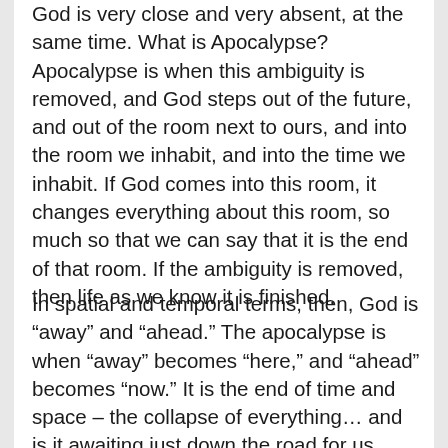God is very close and very absent, at the same time. What is Apocalypse? Apocalypse is when this ambiguity is removed, and God steps out of the future, and out of the room next to ours, and into the room we inhabit, and into the time we inhabit. If God comes into this room, it changes everything about this room, so much so that we can say that it is the end of that room. If the ambiguity is removed, then life as we know it is finished.
In spatial and temporal terms, then, God is “away” and “ahead.” The apocalypse is when “away” becomes “here,” and “ahead” becomes “now.” It is the end of time and space – the collapse of everything… and is it awaiting just down the road for us.